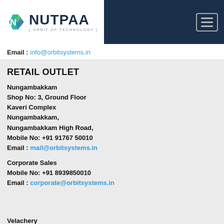[Figure (logo): NUTPAA logo with hexagonal N icon and tagline 'ORBIT OF TECHNOLOGY']
Email : info@orbitsystems.in
RETAIL OUTLET
Nungambakkam
Shop No: 3, Ground Floor
Kaveri Complex
Nungambakkam,
Nungambakkam High Road,
Mobile No: +91 91767 50010
Email : mail@orbitsystems.in
Corporate Sales
Mobile No: +91 8939850010
Email : corporate@orbitsystems.in
Velachery
#121/3, Mageswari Nagar,
100 Feet Bypass Road,